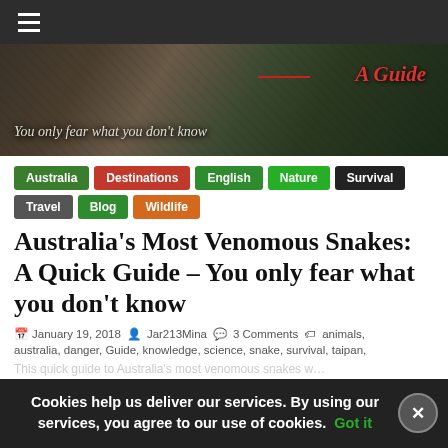Navigation bar with hamburger menu
[Figure (photo): Dark banner with snake image, 'A Guide' text in red italic, tagline 'You only fear what you don't know' in white italic]
Australia
Destinations
English
Nature
Survival
Travel
Blog
Wildlife
Australia's Most Venomous Snakes: A Quick Guide – You only fear what you don't know
January 19, 2018 · Jar213Mina · 3 Comments · animals, australia, danger, Guide, knowledge, science, snake, survival, taipan,
Cookies help us deliver our services. By using our services, you agree to our use of cookies. Got it
This quick guide to Australia's most venomous snakes w…